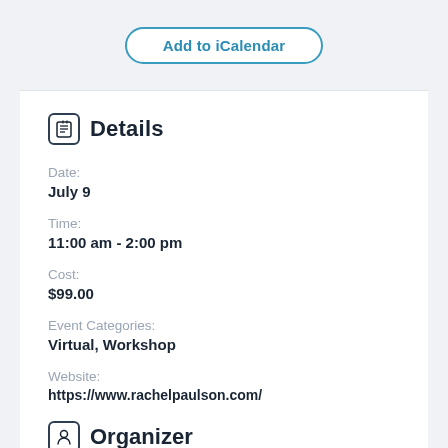[Figure (other): Add to iCalendar button with rounded border in blue]
Details
Date:
July 9
Time:
11:00 am - 2:00 pm
Cost:
$99.00
Event Categories:
Virtual, Workshop
Website:
https://www.rachelpaulson.com/
Organizer